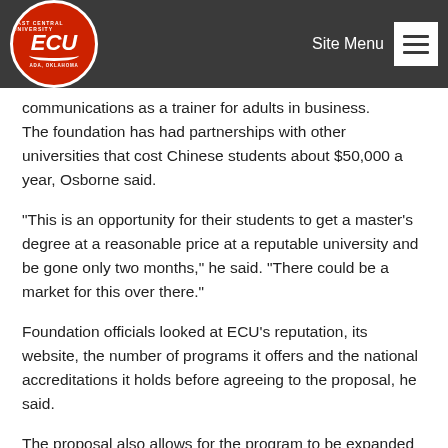Site Menu
[Figure (logo): East Central University (ECU) circular red logo with white text, Ada, Oklahoma]
communications as a trainer for adults in business.
The foundation has had partnerships with other universities that cost Chinese students about $50,000 a year, Osborne said.
"This is an opportunity for their students to get a master's degree at a reasonable price at a reputable university and be gone only two months," he said. "There could be a market for this over there."
Foundation officials looked at ECU's reputation, its website, the number of programs it offers and the national accreditations it holds before agreeing to the proposal, he said.
The proposal also allows for the program to be expanded to include students seeking undergraduate degrees from ECU.